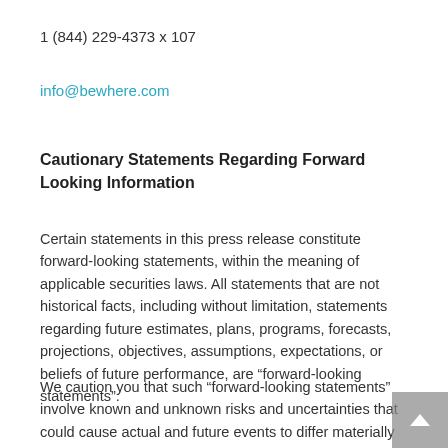1 (844) 229-4373 x 107
info@bewhere.com
Cautionary Statements Regarding Forward Looking Information
Certain statements in this press release constitute forward-looking statements, within the meaning of applicable securities laws. All statements that are not historical facts, including without limitation, statements regarding future estimates, plans, programs, forecasts, projections, objectives, assumptions, expectations, or beliefs of future performance, are “forward-looking statements”.
We caution you that such “forward-looking statements” involve known and unknown risks and uncertainties that could cause actual and future events to differ materially